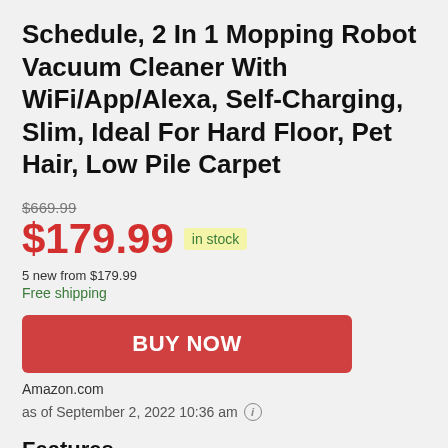Schedule, 2 In 1 Mopping Robot Vacuum Cleaner With WiFi/App/Alexa, Self-Charging, Slim, Ideal For Hard Floor, Pet Hair, Low Pile Carpet
$669.99 (strikethrough)
$179.99 in stock
5 new from $179.99
Free shipping
BUY NOW
Amazon.com
as of September 2, 2022 10:36 am
Features